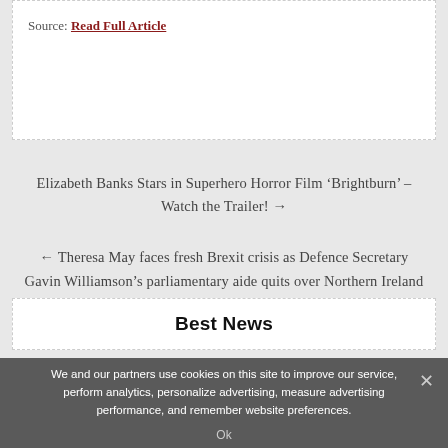Source: Read Full Article
Elizabeth Banks Stars in Superhero Horror Film ‘Brightburn’ – Watch the Trailer! →
← Theresa May faces fresh Brexit crisis as Defence Secretary Gavin Williamson’s parliamentary aide quits over Northern Ireland backstop
Best News
We and our partners use cookies on this site to improve our service, perform analytics, personalize advertising, measure advertising performance, and remember website preferences.
Ok